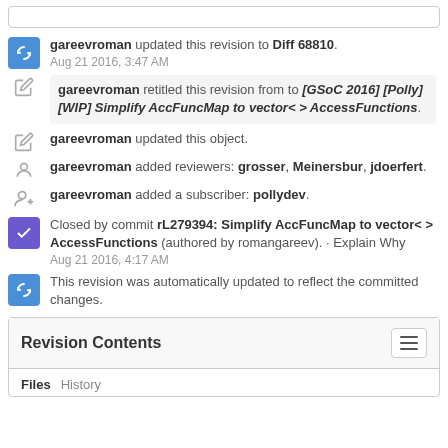gareevroman updated this revision to Diff 68810. Aug 21 2016, 3:47 AM
gareevroman retitled this revision from to [GSoC 2016] [Polly] [WIP] Simplify AccFuncMap to vector<> AccessFunctions.
gareevroman updated this object.
gareevroman added reviewers: grosser, Meinersbur, jdoerfert.
gareevroman added a subscriber: pollydev.
Closed by commit rL279394: Simplify AccFuncMap to vector<> AccessFunctions (authored by romangareev). · Explain Why Aug 21 2016, 4:17 AM
This revision was automatically updated to reflect the committed changes.
Revision Contents
Files
History